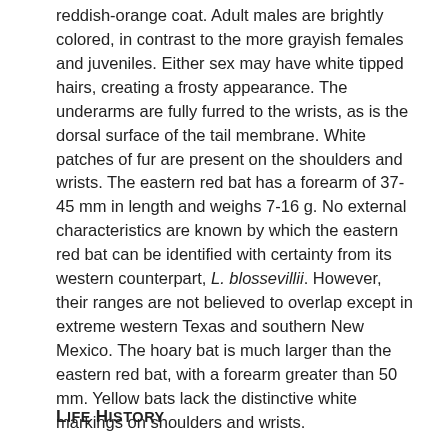reddish-orange coat. Adult males are brightly colored, in contrast to the more grayish females and juveniles. Either sex may have white tipped hairs, creating a frosty appearance. The underarms are fully furred to the wrists, as is the dorsal surface of the tail membrane. White patches of fur are present on the shoulders and wrists. The eastern red bat has a forearm of 37-45 mm in length and weighs 7-16 g. No external characteristics are known by which the eastern red bat can be identified with certainty from its western counterpart, L. blossevillii. However, their ranges are not believed to overlap except in extreme western Texas and southern New Mexico. The hoary bat is much larger than the eastern red bat, with a forearm greater than 50 mm. Yellow bats lack the distinctive white markings on shoulders and wrists.
Life History